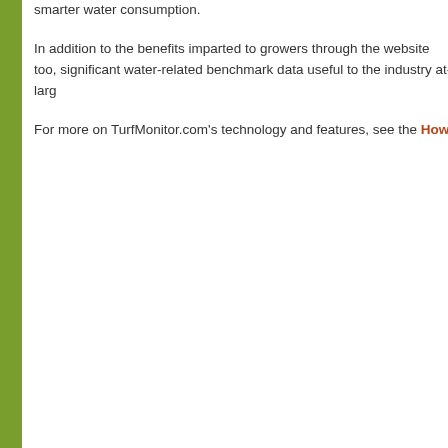smarter water consumption.
In addition to the benefits imparted to growers through the website too, significant water-related benchmark data useful to the industry at-larg...
For more on TurfMonitor.com’s technology and features, see the How...